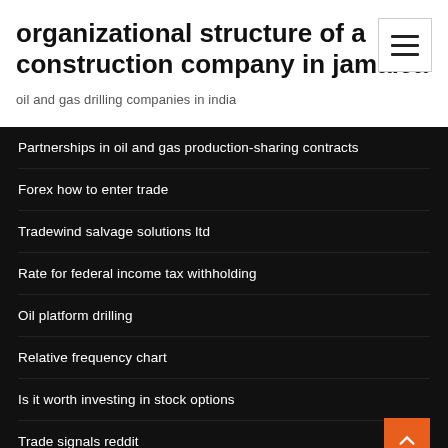organizational structure of a construction company in jamaica
oil and gas drilling companies in india
Partnerships in oil and gas production-sharing contracts
Forex how to enter trade
Tradewind salvage solutions ltd
Rate for federal income tax withholding
Oil platform drilling
Relative frequency chart
Is it worth investing in stock options
Trade signals reddit